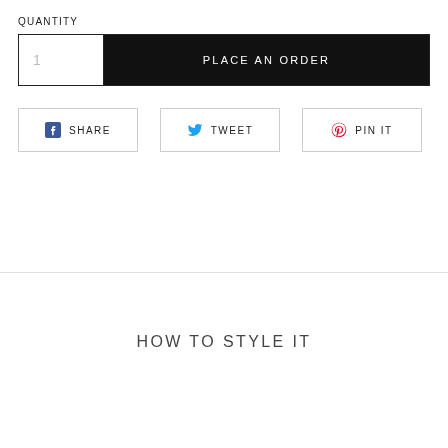QUANTITY
1
PLACE AN ORDER
SHARE
TWEET
PIN IT
HOW TO STYLE IT